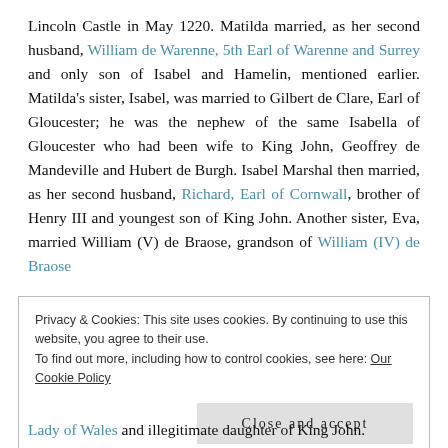Lincoln Castle in May 1220. Matilda married, as her second husband, William de Warenne, 5th Earl of Warenne and Surrey and only son of Isabel and Hamelin, mentioned earlier. Matilda's sister, Isabel, was married to Gilbert de Clare, Earl of Gloucester; he was the nephew of the same Isabella of Gloucester who had been wife to King John, Geoffrey de Mandeville and Hubert de Burgh. Isabel Marshal then married, as her second husband, Richard, Earl of Cornwall, brother of Henry III and youngest son of King John. Another sister, Eva, married William (V) de Braose, grandson of William (IV) de Braose
Privacy & Cookies: This site uses cookies. By continuing to use this website, you agree to their use.
To find out more, including how to control cookies, see here: Our Cookie Policy
Close and accept
Lady of Wales and illegitimate daughter of King John.